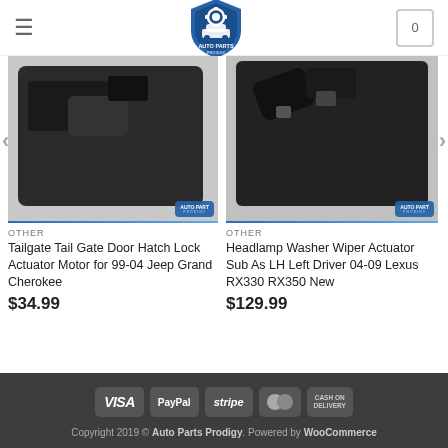Auto Parts Prodigy — navigation header with logo and cart
[Figure (photo): Product photo of Tailgate Tail Gate Door Hatch Lock Actuator Motor, black plastic component, with Auto Parts Prodigy watermark logo]
OTHER
Tailgate Tail Gate Door Hatch Lock Actuator Motor for 99-04 Jeep Grand Cherokee
$34.99
[Figure (photo): Product photo of Headlamp Washer Wiper Actuator Sub As LH Left Driver, black plastic component with connectors, with Auto Parts Prodigy watermark logo]
OTHER
Headlamp Washer Wiper Actuator Sub As LH Left Driver 04-09 Lexus RX330 RX350 New
$129.99
Copyright 2019 © Auto Parts Prodigy. Powered by WooCommerce